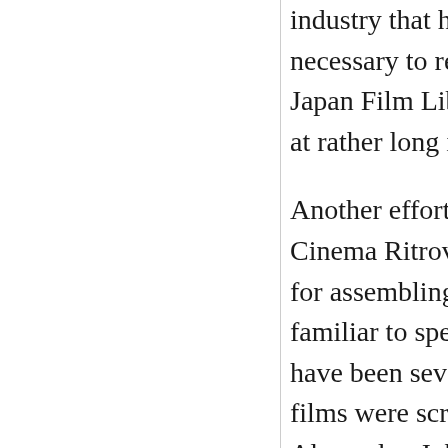industry that has given us dozens of indisputable necessary to remind western publics of this nati Japan Film Library Council in the 1970s have b at rather long intervals; the Mizoguchi series is
Another effort to draw Japanese cinema to the s Cinema Ritrovato over the last three years. Cur for assembling new prints of early talkies, grou familiar to specialists, and a few to generalists ( have been several new discoveries, and the Ritr films were screened twice, often to jam-packed Alexander, Johan, and Tochigi Akira of the Nat
This year's batch focused on the Shochiku stud financial stability because of its theatre holding to a modernizing, western-leaning urban audien movies mixing tears and laughter. Kido urged th Shochiku melodrama indulge in lighter momen sad a film as The Only Son displays a comic sid
Perhaps the purest example of Kido-ism in this